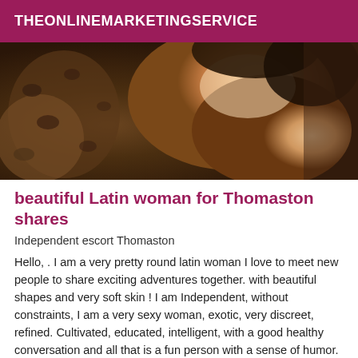THEONLINEMARKETINGSERVICE
[Figure (photo): Close-up photo of a woman's back and shoulder, wearing a leopard/snake print garment, warm tones with wooden background]
beautiful Latin woman for Thomaston shares
Independent escort Thomaston
Hello, . I am a very pretty round latin woman I love to meet new people to share exciting adventures together. with beautiful shapes and very soft skin ! I am Independent, without constraints, I am a very sexy woman, exotic, very discreet, refined. Cultivated, educated, intelligent, with a good healthy conversation and all that is a fun person with a sense of humor. I'm in a very discreet and hygienic PRIVATE APARTMENT. I